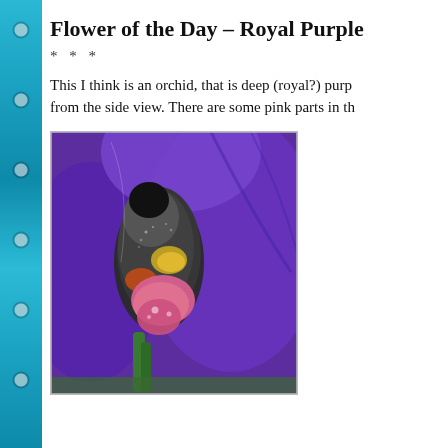Flower of the Day – Royal Purple
* * *
This I think is an orchid, that is deep (royal?) purple from the side view. There are some pink parts in th
[Figure (photo): Close-up macro photograph of a deep royal purple orchid flower showing the central structure with pink and yellow parts, viewed from the side. The petals are velvety purple with a textured appearance.]